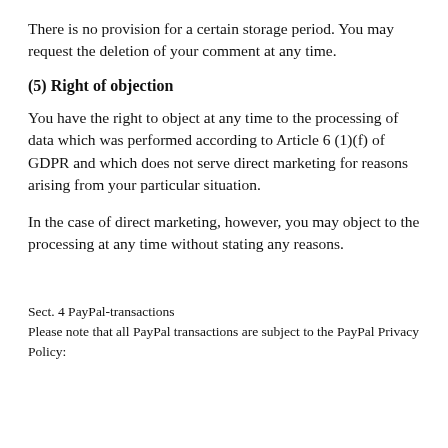There is no provision for a certain storage period. You may request the deletion of your comment at any time.
(5) Right of objection
You have the right to object at any time to the processing of data which was performed according to Article 6 (1)(f) of GDPR and which does not serve direct marketing for reasons arising from your particular situation.
In the case of direct marketing, however, you may object to the processing at any time without stating any reasons.
Sect. 4 PayPal-transactions
Please note that all PayPal transactions are subject to the PayPal Privacy Policy: